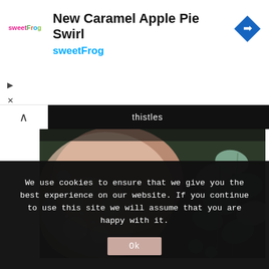[Figure (screenshot): sweetFrog advertisement banner with logo, title 'New Caramel Apple Pie Swirl', subtitle 'sweetFrog', and a blue diamond navigation icon]
thistles
[Figure (photo): Close-up photo of a bride's lace wedding dress back with floral embroidery and eucalyptus bouquet greenery]
We use cookies to ensure that we give you the best experience on our website. If you continue to use this site we will assume that you are happy with it.
Ok